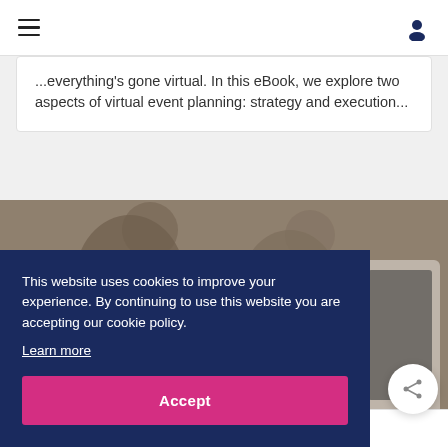Navigation bar with hamburger menu and user icon
...everything's gone virtual. In this eBook, we explore two aspects of virtual event planning: strategy and execution...
[Figure (photo): Blurred photo of people in a meeting/conference room setting with a monitor visible]
This website uses cookies to improve your experience. By continuing to use this website you are accepting our cookie policy.
Learn more
Accept
While we all still believe in the power of meeting people